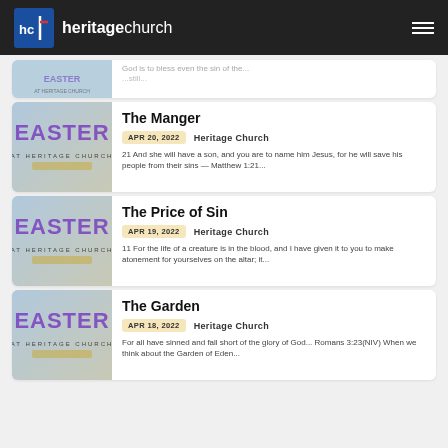hc | heritagechurch
[Figure (screenshot): Partial card with Easter at Heritage Church image, partially visible at top]
The Manger
APR 20, 2022   Heritage Church
21 And she will have a son, and you are to name him Jesus, for he will save his people from their sins — Matthew 1:21...
The Price of Sin
APR 19, 2022   Heritage Church
11 For the life of a creature is in the blood, and I have given it to you to make atonement for yourselves on the altar; it...
The Garden
APR 18, 2022   Heritage Church
For all have sinned and fall short of the glory of God... Romans 3:23(NIV) When we think about the Garden of Eden...